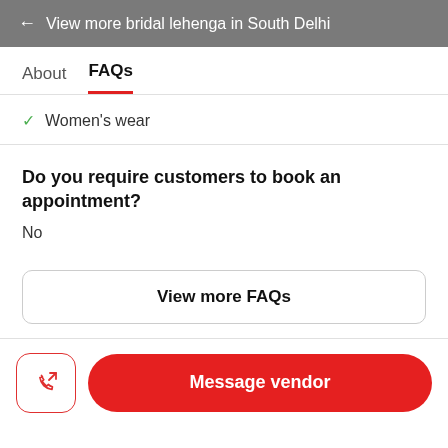← View more bridal lehenga in South Delhi
About   FAQs
✓ Women's wear
Do you require customers to book an appointment?
No
View more FAQs
Message vendor